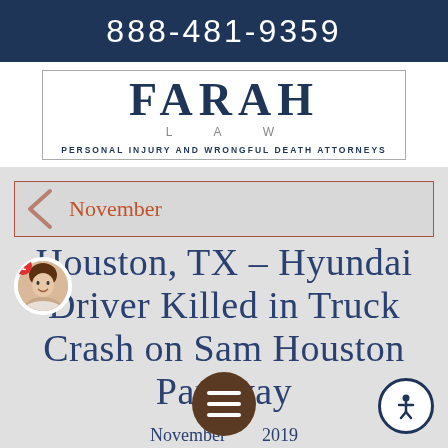888-481-9359
[Figure (logo): Farah Law logo — FARAH in large serif letters inside a rectangle border, with LAW in spaced smaller text below, and tagline PERSONAL INJURY AND WRONGFUL DEATH ATTORNEYS]
November
Houston, TX – Hyundai Driver Killed in Truck Crash on Sam Houston Parkway